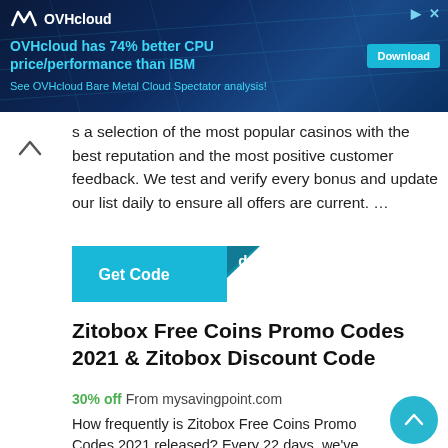[Figure (screenshot): OVHcloud advertisement banner with dark blue background, logo, headline 'OVHcloud has 74% better CPU price/performance than IBM', subline 'See OVHcloud Bare Metal Cloud Spectator analysis!', and a Download button. Info and close icons in top right.]
s a selection of the most popular casinos with the best reputation and the most positive customer feedback. We test and verify every bonus and update our list daily to ensure all offers are current. …
[Figure (screenshot): Teal 'Get Code' button with folded corner effect and text 'Get Code' and 'de']
Zitobox Free Coins Promo Codes 2021 & Zitobox Discount Code
30% off From mysavingpoint.com
How frequently is Zitobox Free Coins Promo Codes 2021 released? Every 22 days, we've found a new discount code from Zitobox. In the